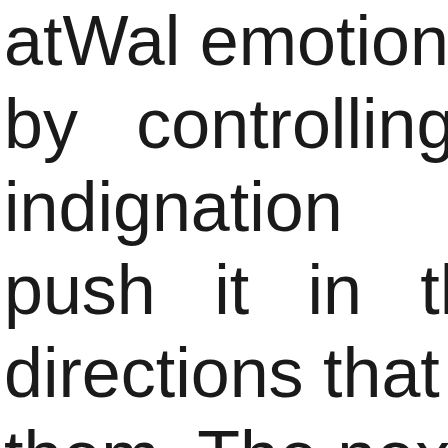atWal emotions, and by controlling our indignation they push it in the directions that profit them. The next step is civil war – for